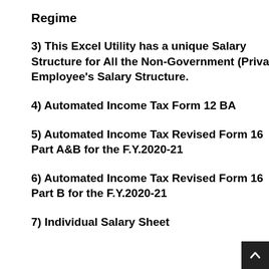Regime
3) This Excel Utility has a unique Salary Structure for All the Non-Government (Private) Employee's Salary Structure.
4) Automated Income Tax Form 12 BA
5) Automated Income Tax Revised Form 16 Part A&B for the F.Y.2020-21
6) Automated Income Tax Revised Form 16 Part B for the F.Y.2020-21
7) Individual Salary Sheet